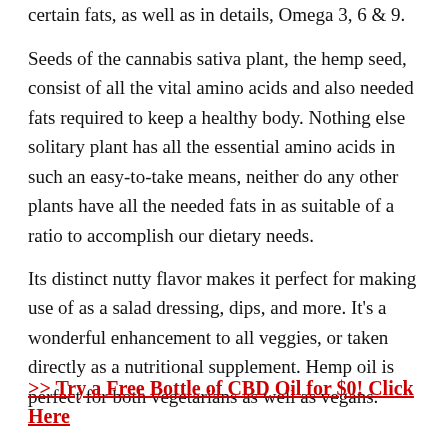certain fats, as well as in details, Omega 3, 6 & 9.
Seeds of the cannabis sativa plant, the hemp seed, consist of all the vital amino acids and also needed fats required to keep a healthy body. Nothing else solitary plant has all the essential amino acids in such an easy-to-take means, neither do any other plants have all the needed fats in as suitable of a ratio to accomplish our dietary needs.
Its distinct nutty flavor makes it perfect for making use of as a salad dressing, dips, and more. It's a wonderful enhancement to all veggies, or taken directly as a nutritional supplement. Hemp oil is perfect for both vegetarians as well as vegans.
>> Try a Free Bottle of CBD Oil for $0! Click Here